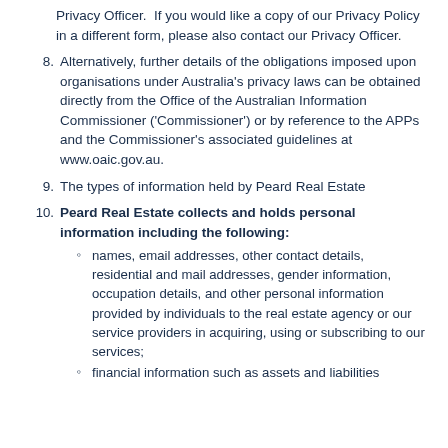Privacy Officer.  If you would like a copy of our Privacy Policy in a different form, please also contact our Privacy Officer.
8. Alternatively, further details of the obligations imposed upon organisations under Australia's privacy laws can be obtained directly from the Office of the Australian Information Commissioner ('Commissioner') or by reference to the APPs and the Commissioner's associated guidelines at www.oaic.gov.au.
9. The types of information held by Peard Real Estate
10. Peard Real Estate collects and holds personal information including the following:
names, email addresses, other contact details, residential and mail addresses, gender information, occupation details, and other personal information provided by individuals to the real estate agency or our service providers in acquiring, using or subscribing to our services;
financial information such as assets and liabilities